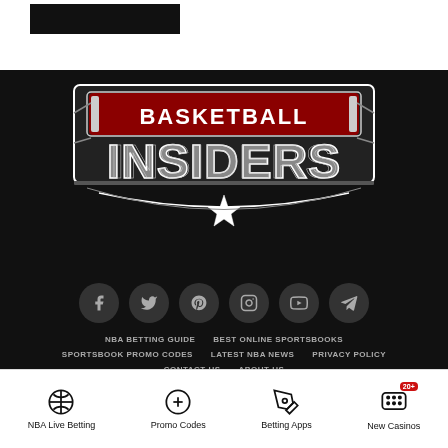[Figure (logo): Basketball Insiders logo with red banner reading BASKETBALL and large stylized INSIDERS text below with star emblem]
[Figure (infographic): Row of 6 social media icon buttons: Facebook, Twitter, Pinterest, Instagram, YouTube, Telegram]
NBA BETTING GUIDE   BEST ONLINE SPORTSBOOKS
SPORTSBOOK PROMO CODES   LATEST NBA NEWS   PRIVACY POLICY
CONTACT US   ABOUT US
NBA Live Betting   Promo Codes   Betting Apps   New Casinos 20+